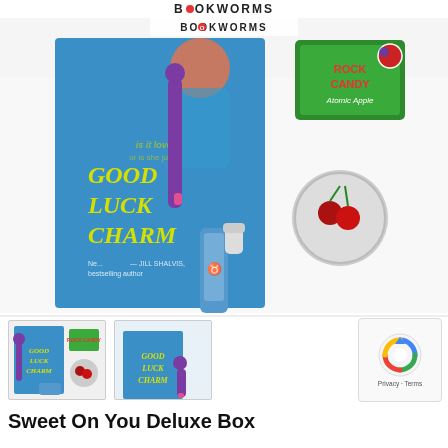BOOKWORMS
[Figure (photo): Main product photo showing 'The Good Luck Charm' book with accessories including a purple toy, Rock Candy Atomic Apple packet, a small tin with cherries design, and a blue roller bottle on a white surface.]
[Figure (photo): Thumbnail 1: closeup of the Good Luck Charm book, Rock Candy packet, tin, and roller bottle arranged together.]
[Figure (photo): Thumbnail 2: The Good Luck Charm book with purple accessories laid out.]
[Figure (other): reCAPTCHA widget with Privacy and Terms text.]
Sweet On You Deluxe Box